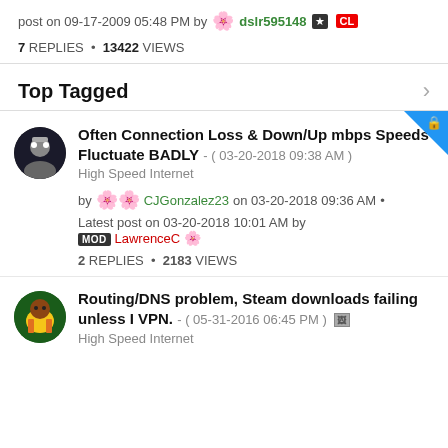post on 09-17-2009 05:48 PM by dslr595148 ★CL
7 REPLIES • 13422 VIEWS
Top Tagged
Often Connection Loss & Down/Up mbps Speeds Fluctuate BADLY - ( 03-20-2018 09:38 AM )
High Speed Internet
by CJGonzalez23 on 03-20-2018 09:36 AM •
Latest post on 03-20-2018 10:01 AM by MOD LawrenceC
2 REPLIES • 2183 VIEWS
Routing/DNS problem, Steam downloads failing unless I VPN. - ( 05-31-2016 06:45 PM )
High Speed Internet